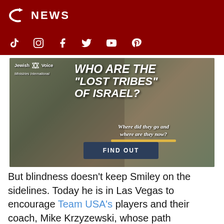NEWS
[Figure (screenshot): Website header with dark red background, white logo (stylized C with arrow) and NEWS text, social media icons row (TikTok, Instagram, Facebook, Twitter/X, YouTube, Pinterest) on dark red bar below.]
[Figure (illustration): Jewish Voice Ministries International advertisement. Background shows African children standing together. Text overlay reads: 'WHO ARE THE "LOST TRIBES" OF ISRAEL? Where did they go and where are they now?' with a FIND OUT button.]
But blindness doesn't keep Smiley on the sidelines. Today he is in Las Vegas to encourage Team USA's players and their coach, Mike Krzyzewski, whose path overlapped with Smiley's at Duke University.